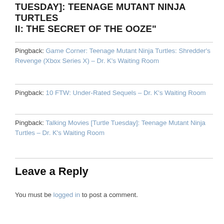TUESDAY]: TEENAGE MUTANT NINJA TURTLES II: THE SECRET OF THE OOZE"
Pingback: Game Corner: Teenage Mutant Ninja Turtles: Shredder’s Revenge (Xbox Series X) – Dr. K’s Waiting Room
Pingback: 10 FTW: Under-Rated Sequels – Dr. K’s Waiting Room
Pingback: Talking Movies [Turtle Tuesday]: Teenage Mutant Ninja Turtles – Dr. K’s Waiting Room
Leave a Reply
You must be logged in to post a comment.